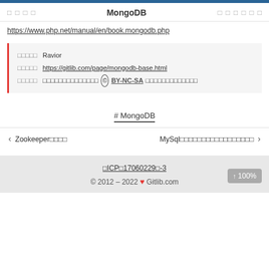□ □ □ □  MongoDB  □ □ □ □ □ □
https://www.php.net/manual/en/book.mongodb.php
作者：Ravior
原文：https://gitlib.com/page/mongodb-base.html
许可证：本作品采用 © BY-NC-SA 许可协议授权
# MongoDB
‹ Zookeeper□□□□    MySql□□□□□□□□□□□□□□□□□ ›
□ICP□17060229□-3
© 2012 – 2022 ♥ Gitlib.com